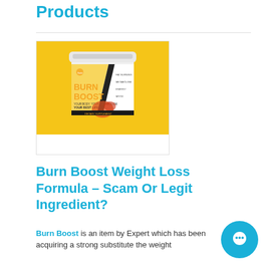Products
[Figure (photo): Burn Boost dietary supplement container with yellow background. White cylindrical container with label showing 'BURN BOOST' in orange and yellow text, 'YOUR BEST METABOLISM YOUR BEST LIFE' tagline, gold sun logo, and list of features on the right side.]
Burn Boost Weight Loss Formula – Scam Or Legit Ingredient?
Burn Boost is an item by Expert which has been acquiring a strong substitute the weight